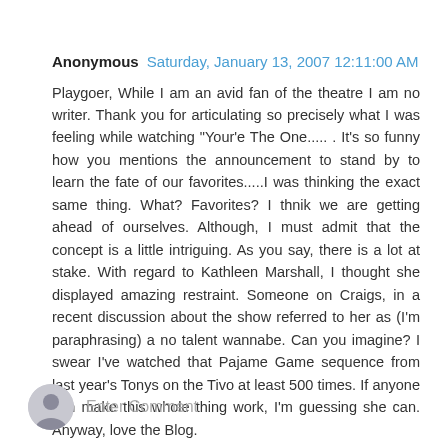Anonymous Saturday, January 13, 2007 12:11:00 AM
Playgoer, While I am an avid fan of the theatre I am no writer. Thank you for articulating so precisely what I was feeling while watching "Your'e The One..... . It's so funny how you mentions the announcement to stand by to learn the fate of our favorites.....I was thinking the exact same thing. What? Favorites? I thnik we are getting ahead of ourselves. Although, I must admit that the concept is a little intriguing. As you say, there is a lot at stake. With regard to Kathleen Marshall, I thought she displayed amazing restraint. Someone on Craigs, in a recent discussion about the show referred to her as (I'm paraphrasing) a no talent wannabe. Can you imagine? I swear I've watched that Pajame Game sequence from last year's Tonys on the Tivo at least 500 times. If anyone can make this whole thing work, I'm guessing she can. Anyway, love the Blog.
Reply
Enter Comment